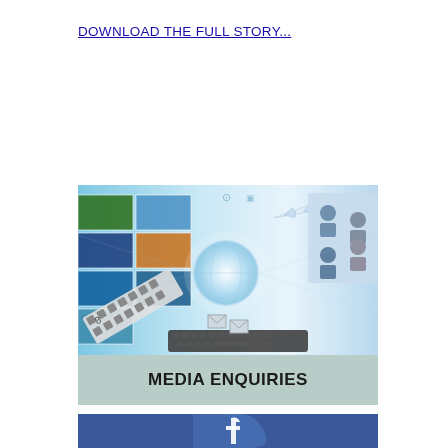DOWNLOAD THE FULL STORY...
[Figure (illustration): Media enquiries illustration showing a digital media collage with film strips, laptop, globe, airplane, photo panels, and people icons, with a light blue/teal color scheme. Below the image is a grey-green banner with bold text 'MEDIA ENQUIRIES'.]
[Figure (illustration): Bottom portion of a Facebook-style blue banner partially visible at the bottom of the page.]